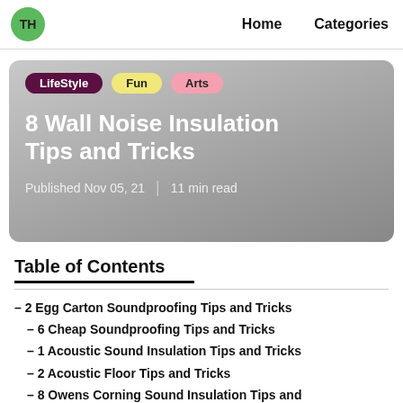TH  Home  Categories
8 Wall Noise Insulation Tips and Tricks
LifeStyle  Fun  Arts
Published Nov 05, 21  |  11 min read
Table of Contents
– 2 Egg Carton Soundproofing Tips and Tricks
– 6 Cheap Soundproofing Tips and Tricks
– 1 Acoustic Sound Insulation Tips and Tricks
– 2 Acoustic Floor Tips and Tricks
– 8 Owens Corning Sound Insulation Tips and